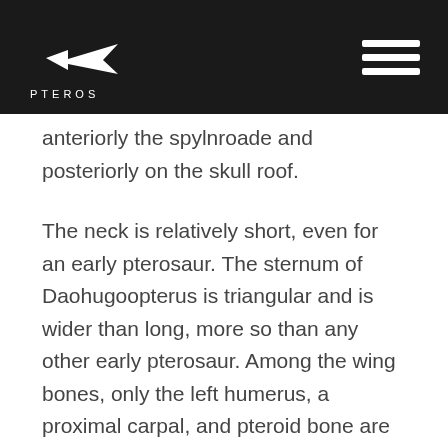PTEROS
anteriorly the spylnroade and posteriorly on the skull roof.
The neck is relatively short, even for an early pterosaur. The sternum of Daohugoopterus is triangular and is wider than long, more so than any other early pterosaur. Among the wing bones, only the left humerus, a proximal carpal, and pteroid bone are known. The humerus is just over 4 cm (1.5 inches) long, and bears a quadrangular deltopectoral crest, similar to Eudimorphodon and Campylognathoides, but longer than what's seen in either taxa. A patch of skin from the base of the neck near the right shoulder shows that